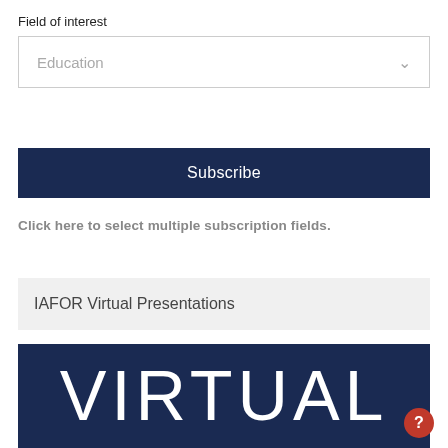Field of interest
Education
Subscribe
Click here to select multiple subscription fields.
IAFOR Virtual Presentations
[Figure (illustration): Dark navy blue banner with large white text reading VIRTUAL in thin lettering]